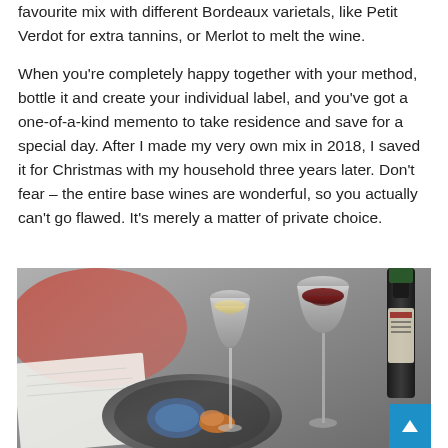favourite mix with different Bordeaux varietals, like Petit Verdot for extra tannins, or Merlot to melt the wine.
When you're completely happy together with your method, bottle it and create your individual label, and you've got a one-of-a-kind memento to take residence and save for a special day. After I made my very own mix in 2018, I saved it for Christmas with my household three years later. Don't fear – the entire base wines are wonderful, so you actually can't go flawed. It's merely a matter of private choice.
[Figure (photo): Photo of a restaurant table setting with wine glasses (one with white wine, one with red wine), a wine bottle, a decorative plate with food, and some papers, taken from above at an angle.]